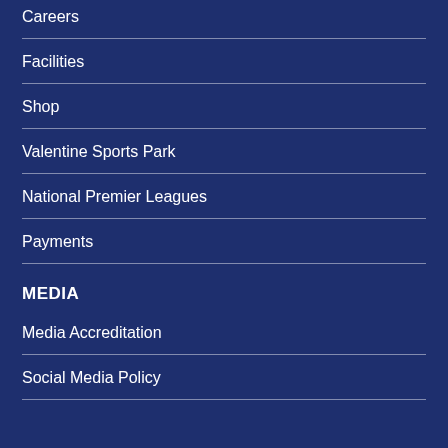Careers
Facilities
Shop
Valentine Sports Park
National Premier Leagues
Payments
MEDIA
Media Accreditation
Social Media Policy